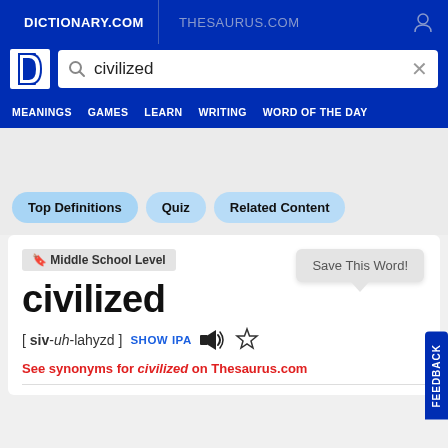DICTIONARY.COM | THESAURUS.COM
[Figure (screenshot): Dictionary.com logo (white D shape on blue background)]
civilized (search query)
MEANINGS  GAMES  LEARN  WRITING  WORD OF THE DAY
Top Definitions  Quiz  Related Content
🔖 Middle School Level
civilized
Save This Word!
[ siv-uh-lahyzd ]  SHOW IPA
See synonyms for civilized on Thesaurus.com
FEEDBACK